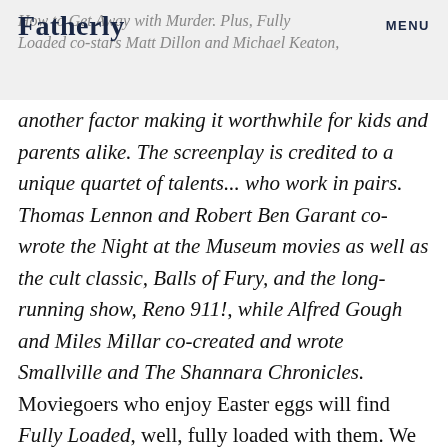Fatherly  MENU  How to Get Away with Murder. Plus, Fully Loaded co-stars Matt Dillon and Michael Keaton,
another factor making it worthwhile for kids and parents alike. The screenplay is credited to a unique quartet of talents... who work in pairs. Thomas Lennon and Robert Ben Garant co-wrote the Night at the Museum movies as well as the cult classic, Balls of Fury, and the long-running show, Reno 911!, while Alfred Gough and Miles Millar co-created and wrote Smallville and The Shannara Chronicles. Moviegoers who enjoy Easter eggs will find Fully Loaded, well, fully loaded with them. We won’t spoil them all, but here are two examples. Maggie pays $75 to buy Herbie. That’s the same amount that Jim Douglas paid for Herbie in the original film. And he